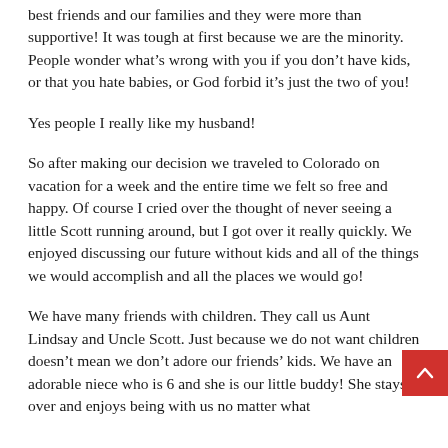best friends and our families and they were more than supportive! It was tough at first because we are the minority. People wonder what's wrong with you if you don't have kids, or that you hate babies, or God forbid it's just the two of you!
Yes people I really like my husband!
So after making our decision we traveled to Colorado on vacation for a week and the entire time we felt so free and happy. Of course I cried over the thought of never seeing a little Scott running around, but I got over it really quickly. We enjoyed discussing our future without kids and all of the things we would accomplish and all the places we would go!
We have many friends with children. They call us Aunt Lindsay and Uncle Scott. Just because we do not want children doesn't mean we don't adore our friends' kids. We have an adorable niece who is 6 and she is our little buddy! She stays over and enjoys being with us no matter what